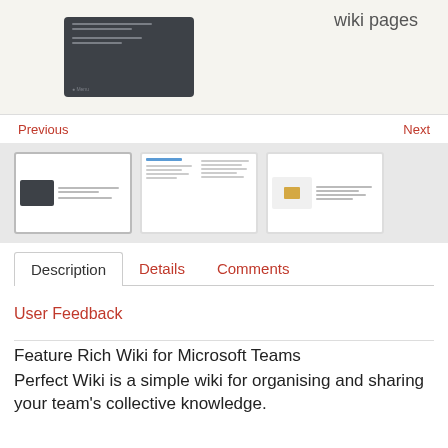[Figure (screenshot): Screenshot showing a dark UI mockup with 'wiki pages' text alongside it]
Previous                                                                                Next
[Figure (screenshot): Three thumbnail previews of wiki application screens]
Description   Details   Comments
User Feedback
Feature Rich Wiki for Microsoft Teams
Perfect Wiki is a simple wiki for organising and sharing your team's collective knowledge.